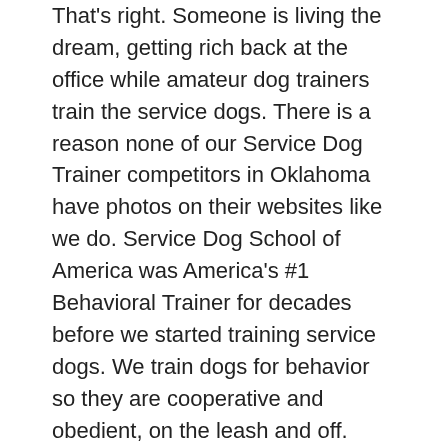That's right.  Someone is living the dream, getting rich back at the office while amateur dog trainers train the service dogs.  There is a reason none of our Service Dog Trainer competitors in Oklahoma have photos on their websites like we do.  Service Dog School of America was America's #1 Behavioral Trainer for decades before we started training service dogs.  We train dogs for behavior so they are cooperative and obedient, on the leash and off.
Service Dog School of America is the only service dog trainer in Oklahoma that offers off-leash obedient trained psychiatric service dogs for sale.